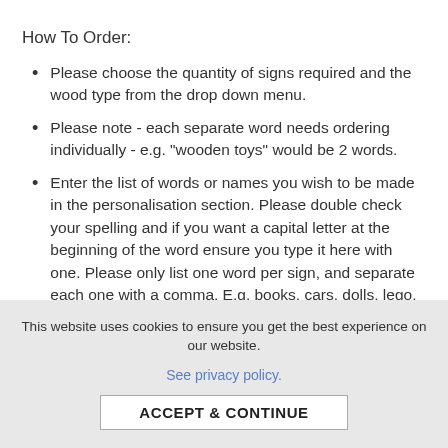How To Order:
Please choose the quantity of signs required and the wood type from the drop down menu.
Please note - each separate word needs ordering individually - e.g. "wooden toys" would be 2 words.
Enter the list of words or names you wish to be made in the personalisation section. Please double check your spelling and if you want a capital letter at the beginning of the word ensure you type it here with one. Please only list one word per sign, and separate each one with a comma. E.g. books, cars, dolls, lego, Thea, Arthur.
This website uses cookies to ensure you get the best experience on our website.
See privacy policy.
ACCEPT & CONTINUE